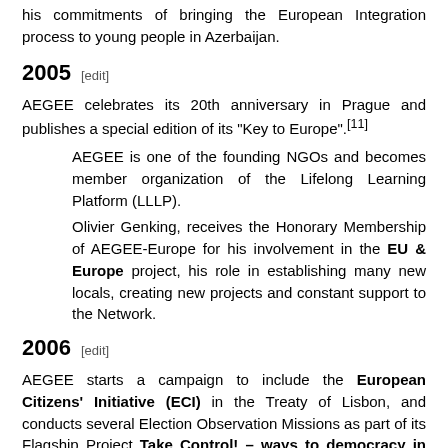his commitments of bringing the European Integration process to young people in Azerbaijan.
2005 [edit]
AEGEE celebrates its 20th anniversary in Prague and publishes a special edition of its "Key to Europe".[11]
AEGEE is one of the founding NGOs and becomes member organization of the Lifelong Learning Platform (LLLP).
Olivier Genking, receives the Honorary Membership of AEGEE-Europe for his involvement in the EU & Europe project, his role in establishing many new locals, creating new projects and constant support to the Network.
2006 [edit]
AEGEE starts a campaign to include the European Citizens' Initiative (ECI) in the Treaty of Lisbon, and conducts several Election Observation Missions as part of its Flagship Project Take Control! – ways to democracy in Europe
AEGEE launches its Youth Globalization project, getting